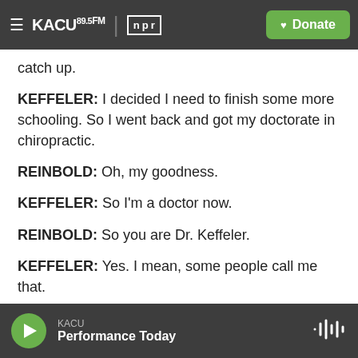KACU 89.5FM | NPR | Donate
catch up.
KEFFELER: I decided I need to finish some more schooling. So I went back and got my doctorate in chiropractic.
REINBOLD: Oh, my goodness.
KEFFELER: So I'm a doctor now.
REINBOLD: So you are Dr. Keffeler.
KEFFELER: Yes. I mean, some people call me that.
REINBOLD: I will call you that from now on. You're
KACU — Performance Today